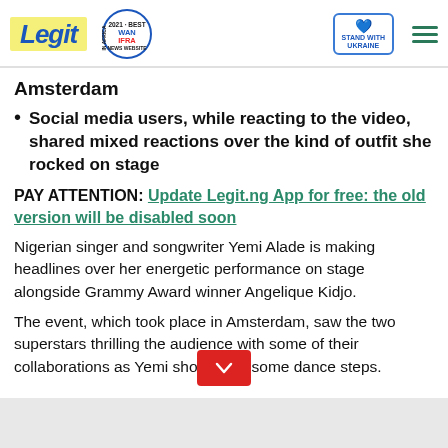Legit | WAN IFRA 2021 Best News Website in Africa | Stand With Ukraine
Amsterdam
Social media users, while reacting to the video, shared mixed reactions over the kind of outfit she rocked on stage
PAY ATTENTION: Update Legit.ng App for free: the old version will be disabled soon
Nigerian singer and songwriter Yemi Alade is making headlines over her energetic performance on stage alongside Grammy Award winner Angelique Kidjo.
The event, which took place in Amsterdam, saw the two superstars thrilling the audience with some of their collaborations as Yemi showed off some dance steps.